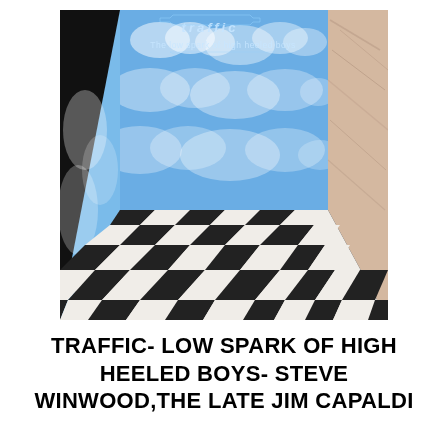[Figure (illustration): Album cover for Traffic - The Low Spark of High Heeled Boys. Features a surreal 3D room with sky-blue walls painted with white clouds, a black-and-white checkered floor in perspective, a marble-textured right wall, and black triangular corners. The band name 'traffic' and album title 'The low spark of high heeled boys' appear at the top in light blue text.]
TRAFFIC- LOW SPARK OF HIGH HEELED BOYS- STEVE WINWOOD,THE LATE JIM CAPALDI